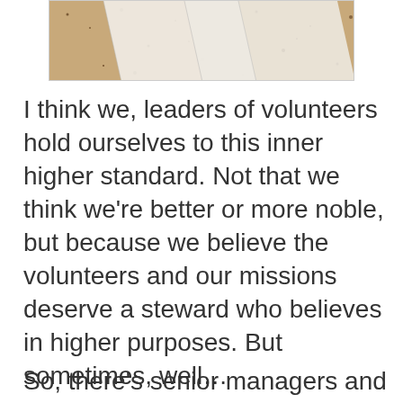[Figure (photo): Partial view of papers or cards on a speckled surface, cropped at top of page]
I think we, leaders of volunteers hold ourselves to this inner higher standard. Not that we think we're better or more noble, but because we believe the volunteers and our missions deserve a steward who believes in higher purposes. But sometimes, well…
So, there's senior managers and